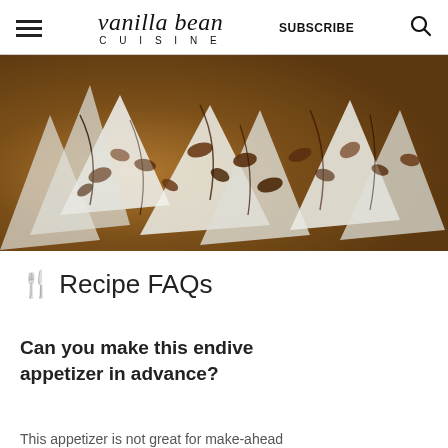vanilla bean CUISINE  SUBSCRIBE
[Figure (photo): Close-up photo of endive appetizers topped with pecans, blue cheese, and balsamic glaze drizzle, arranged on a white surface.]
🍴 Recipe FAQs
Can you make this endive appetizer in advance?
This appetizer is not great for make-ahead